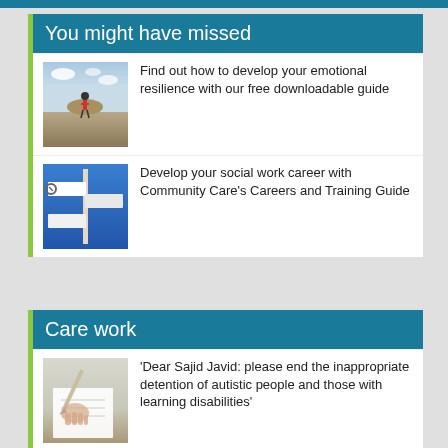You might have missed
Find out how to develop your emotional resilience with our free downloadable guide
Develop your social work career with Community Care's Careers and Training Guide
Care work
'Dear Sajid Javid: please end the inappropriate detention of autistic people and those with learning disabilities'